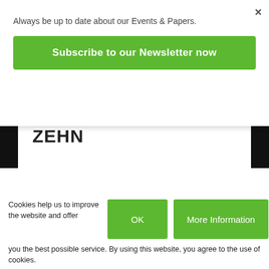Always be up to date about our Events & Papers.
Subscribe to our Newsletter now
[Figure (photo): Dark background photo showing a person in a blue shirt with hands visible, partially obscured]
INVITATION CARD
ZEHN
Cookies help us to improve the website and offer you the best possible service. By using this website, you agree to the use of cookies.
OK
More Information